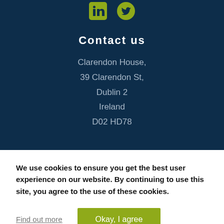[Figure (logo): LinkedIn and Twitter social media icons in yellow-green color on dark navy background]
Contact us
Clarendon House,
39 Clarendon St,
Dublin 2
Ireland
D02 HD78
We use cookies to ensure you get the best user experience on our website. By continuing to use this site, you agree to the use of these cookies.
Find out more
Okay, I agree